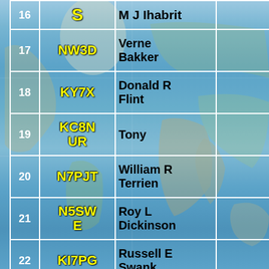| # | Callsign | Name |  |
| --- | --- | --- | --- |
| 16 | S | M J Ihabrit |  |
| 17 | NW3D | Verne Bakker |  |
| 18 | KY7X | Donald R Flint |  |
| 19 | KC8NUR | Tony |  |
| 20 | N7PJT | William R Terrien |  |
| 21 | N5SWE | Roy L Dickinson |  |
| 22 | KI7PG | Russell E Swank |  |
|  |  |  |  |